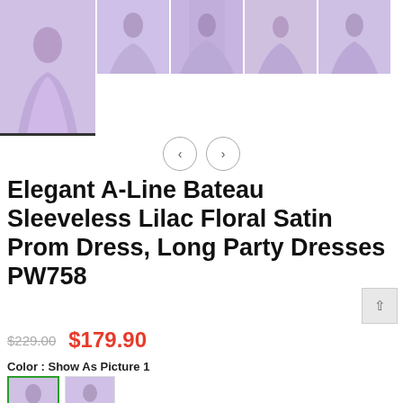[Figure (photo): Product gallery showing a lilac/lavender satin prom dress. Main large image on left, four smaller thumbnail images to the right. The dress is an A-line style with a bateau neckline, sleeveless, in lilac floral satin.]
[Figure (other): Navigation buttons: left arrow circle and right arrow circle for image carousel]
Elegant A-Line Bateau Sleeveless Lilac Floral Satin Prom Dress, Long Party Dresses PW758
$229.00  $179.90
Color : Show As Picture 1
[Figure (photo): Two small color option thumbnails showing the lilac prom dress. The first thumbnail is selected (indicated by a green checkmark).]